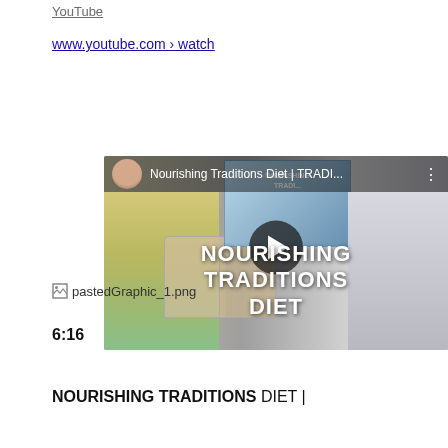YouTube
www.youtube.com › watch
[Figure (screenshot): YouTube video thumbnail showing 'Nourishing Traditions Diet | TRADI...' with play button overlay and text 'NOURISHING TRADITIONS DIET' on screen]
pastedGraphic_1.png
6:16
NOURISHING TRADITIONS DIET |